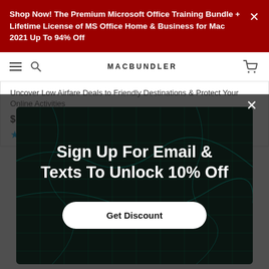Shop Now! The Premium Microsoft Office Training Bundle + Lifetime License of MS Office Home & Business for Mac 2021 Up To 94% Off
MACBUNDLER
Uncover Low Airfare Deals to Friendly Destinations & Protect Your Online Activities
$149.99 $5,199.00
[Figure (screenshot): Email signup modal overlay with dark circuit-board background. Heading: 'Sign Up For Email & Texts To Unlock 10% Off'. Button: 'Get Discount'.]
Sign Up For Email & Texts To Unlock 10% Off
Get Discount